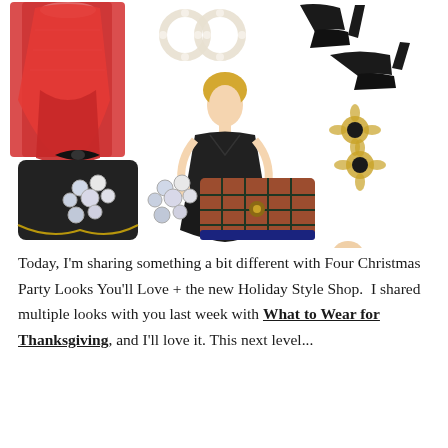[Figure (photo): A collage of holiday/Christmas fashion items: red lace dress (top left), pearl hoop earrings (top center), black pointed stilettos (top right), black velvet fit-and-flare dress (center), gold floral drop earrings (center right), black knotted bow crossbody bag (center left), crystal chandelier earrings (bottom left), red tartan plaid clutch bag (bottom center), dark green plaid turtleneck swing dress (bottom right)]
Today, I'm sharing something a bit different with Four Christmas Party Looks You'll Love + the new Holiday Style Shop.  I shared multiple looks with you last week with What to Wear for Thanksgiving, and I'll love it. This next level...